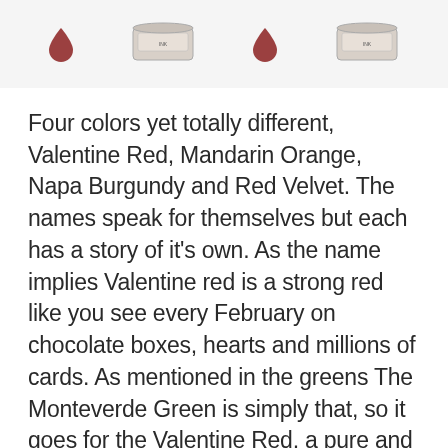[Figure (photo): Four product images at top: two ink drop icons (dark red/maroon) and two tin/container icons with labels, arranged in a row on a light gray background.]
Four colors yet totally different, Valentine Red, Mandarin Orange, Napa Burgundy and Red Velvet. The names speak for themselves but each has a story of it's own. As the name implies Valentine red is a strong red like you see every February on chocolate boxes, hearts and millions of cards. As mentioned in the greens The Monteverde Green is simply that, so it goes for the Valentine Red, a pure and perfect red and nothing else, great color. While in the red family the Mandarin Orange is hardly red but a brilliant and bursting orange an intensity I have not